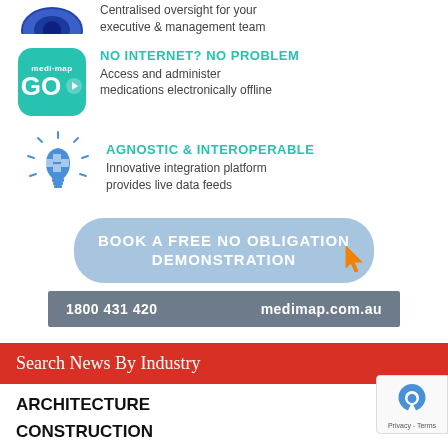[Figure (illustration): Partial eye icon (blue) with text 'Centralised oversight for your executive & management team']
[Figure (logo): medi-map GO app icon (teal rounded square) next to 'NO INTERNET? NO PROBLEM' feature]
NO INTERNET? NO PROBLEM
Access and administer medications electronically offline
[Figure (illustration): Blue lightbulb with puzzle pieces icon for AGNOSTIC & INTEROPERABLE feature]
AGNOSTIC & INTEROPERABLE
Innovative integration platform provides live data feeds
[Figure (infographic): Button: BOOK A FREE NO OBLIGATION DEMONSTRATION with orange cursor icon]
1800 431 420    medimap.com.au
Search News By Industry
ARCHITECTURE
CONSTRUCTION
FINANCE
GOVERNMENT